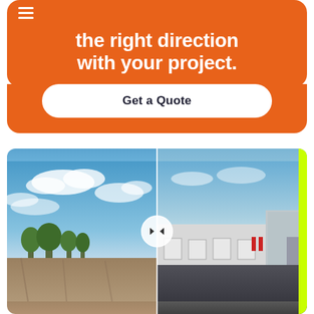the right direction with your project.
Get a Quote
[Figure (photo): Before and after comparison photo showing a construction/paving site. Left side shows an empty dirt lot with trees and cloudy blue sky. Right side shows a completed asphalt parking lot with white warehouse buildings. A circular play/slider button is centered at the divider. A lime green vertical bar appears on the far right edge.]